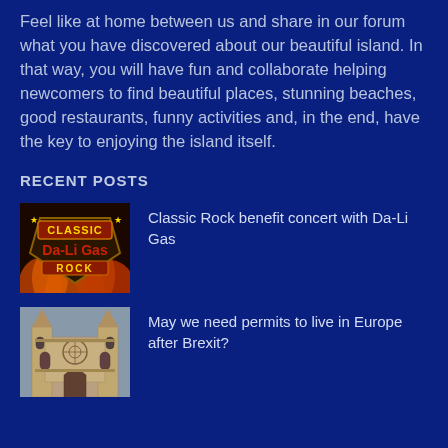Feel like at home between us and share in our forum what you have discovered about our beautiful island. In that way, you will have fun and collaborate helping newcomers to find beautiful places, stunning beaches, good restaurants, funny activities and, in the end, have the key to enjoying the island itself.
RECENT POSTS
[Figure (photo): Classic Rock Da-Li Gas band logo with flames on dark background]
Classic Rock benefit concert with Da-Li Gas
[Figure (photo): Gothic cathedral facade with ornate stone architecture]
May we need permits to live in Europe after Brexit?